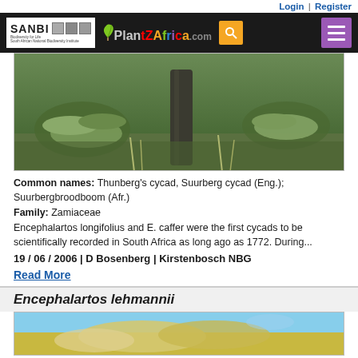Login | Register
[Figure (photo): PlantZAfrica website header with SANBI logo, PlantZAfrica.com logo, search button, and hamburger menu on black background]
[Figure (photo): Photograph of Encephalartos longifolius cycad plant in natural habitat, showing cycad fronds and trunk]
Common names: Thunberg's cycad, Suurberg cycad (Eng.); Suurbergbroodboom (Afr.)
Family: Zamiaceae
Encephalartos longifolius and E. caffer were the first cycads to be scientifically recorded in South Africa as long ago as 1772. During...
19 / 06 / 2006 | D Bosenberg | Kirstenbosch NBG
Read More
Encephalartos lehmannii
[Figure (photo): Photograph of Encephalartos lehmannii cycad plant against blue sky]